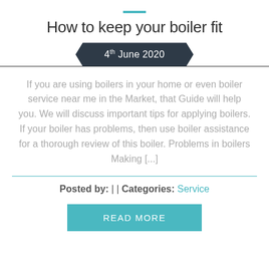How to keep your boiler fit
4th June 2020
If you are using boilers in your home or even boiler service near me in the Market, that Guide will help you. We will discuss important tips for applying boilers. If your boiler has problems, then use boiler assistance for a thorough review of this boiler. Problems in boilers Making [...]
Posted by:  |  | Categories: Service
READ MORE